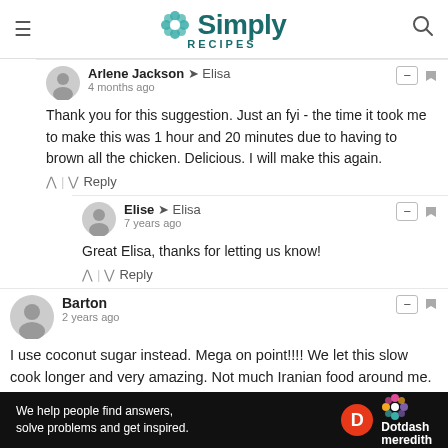Simply Recipes
Arlene Jackson → Elisa
4 months ago
Thank you for this suggestion. Just an fyi - the time it took me to make this was 1 hour and 20 minutes due to having to brown all the chicken. Delicious. I will make this again.
Elise → Elisa
7 years ago
Great Elisa, thanks for letting us know!
Barton
2 years ago
I use coconut sugar instead. Mega on point!!!! We let this slow cook longer and very amazing. Not much Iranian food around me. Only one place makes fesenjan but the best closed down
[Figure (logo): Dotdash Meredith advertisement banner at the bottom: 'We help people find answers, solve problems and get inspired.']